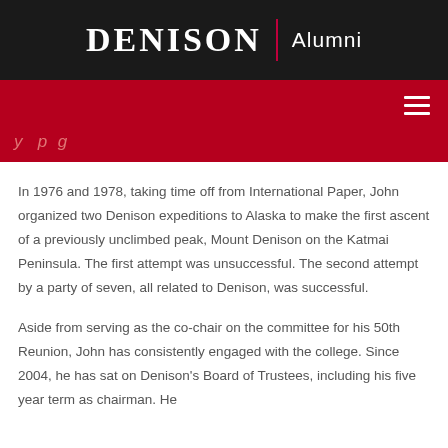DENISON | Alumni
In 1976 and 1978, taking time off from International Paper, John organized two Denison expeditions to Alaska to make the first ascent of a previously unclimbed peak, Mount Denison on the Katmai Peninsula. The first attempt was unsuccessful. The second attempt by a party of seven, all related to Denison, was successful.
Aside from serving as the co-chair on the committee for his 50th Reunion, John has consistently engaged with the college. Since 2004, he has sat on Denison's Board of Trustees, including his five year term as chairman. He